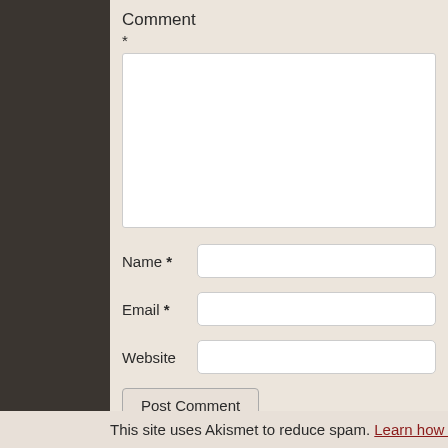Comment
*
Name *
Email *
Website
Post Comment
This site uses Akismet to reduce spam. Learn how your comment…